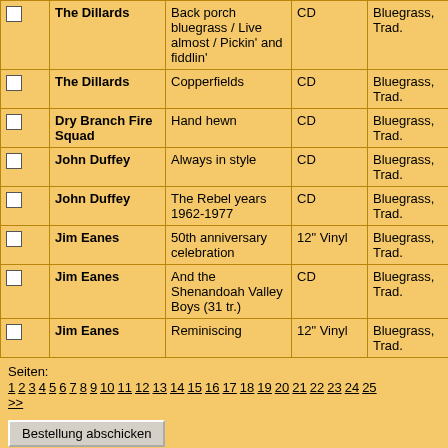|  | Artist | Title | Format | Genre | Label |
| --- | --- | --- | --- | --- | --- |
| ☐ | The Dillards | Back porch bluegrass / Live almost / Pickin' and fiddlin' | CD | Bluegrass, Trad. | BG...116...CD |
| ☐ | The Dillards | Copperfields | CD | Bluegrass, Trad. | CO...US |
| ☐ | Dry Branch Fire Squad | Hand hewn | CD | Bluegrass, Trad. | Ro...04 |
| ☐ | John Duffey | Always in style | CD | Bluegrass, Trad. | SH...US |
| ☐ | John Duffey | The Rebel years 1962-1977 | CD | Bluegrass, Trad. | Re...18... |
| ☐ | Jim Eanes | 50th anniversary celebration | 12" Vinyl | Bluegrass, Trad. | Re...16 |
| ☐ | Jim Eanes | And the Shenandoah Valley Boys (31 tr.) | CD | Bluegrass, Trad. | BC...D |
| ☐ | Jim Eanes | Reminiscing | 12" Vinyl | Bluegrass, Trad. | Re...US |
Seiten:
1 2 3 4 5 6 7 8 9 10 11 12 13 14 15 16 17 18 19 20 21 22 23 24 25 >>